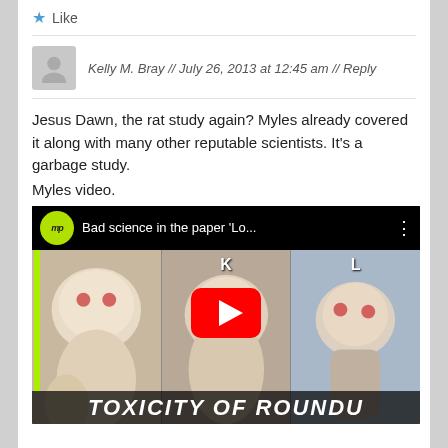★ Like
Kelly M. Bray // July 26, 2013 at 12:45 am // Reply
Jesus Dawn, the rat study again? Myles already covered it along with many other reputable scientists. It's a garbage study.
Myles video.
[Figure (screenshot): YouTube video thumbnail showing three rats with title 'Bad science in the paper Lo...' and text 'TOXICITY OF ROUNDU' at the bottom]